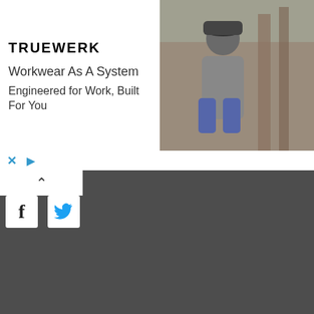[Figure (screenshot): TRUEWERK advertisement banner. Left side shows TRUEWERK logo in bold black text, with headline 'Workwear As A System' and subtext 'Engineered for Work, Built For You'. Right side shows a photo of a worker crouching outdoors in gray shirt and cap.]
[Figure (screenshot): Ad control row with X close button and play/skip button icons in blue.]
[Figure (screenshot): Dark gray website section with white chevron up arrow, Facebook and Twitter social icons. Text reads 'Follow Us On Facebook' with a red underline separator.]
Follow Us On Facebook
Follow Us On Twitter
[Figure (screenshot): Infolinks branding bar with white text on black background.]
[Figure (screenshot): Nike advertisement at bottom: thumbnail image on left, Nike. Just Do It headline in blue, subtext 'Inspiring the world's athletes, Nike delivers the deals', www.nike.com in green, blue circular arrow button on right, X close button.]